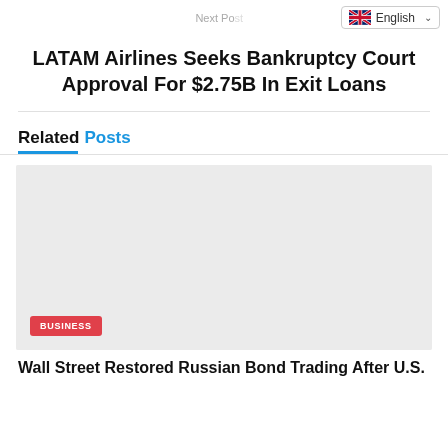Next Post
LATAM Airlines Seeks Bankruptcy Court Approval For $2.75B In Exit Loans
Related Posts
[Figure (photo): Gray placeholder image for a related article with a red BUSINESS tag label in the lower left corner]
Wall Street Restored Russian Bond Trading After U.S.